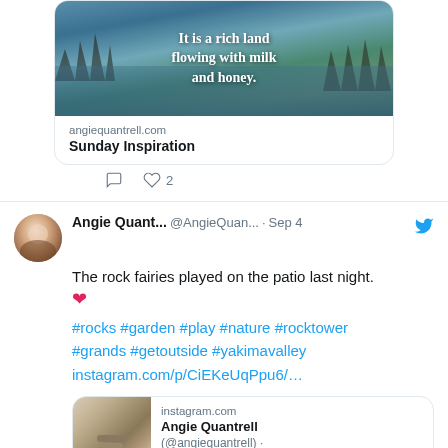[Figure (screenshot): Twitter/social media screenshot showing two tweets. Top tweet has a link preview card with a scenic lake/forest photo and text 'It is a rich land flowing with milk and honey.' from angiequantrell.com titled 'Sunday Inspiration', with comment and like (2) action buttons. Second tweet by Angie Quant... @AngieQuan... · Sep 4 with Twitter bird icon, body text 'The rock fairies played on the patio last night. ❤️' followed by hashtags #rocks #garden #play #nature #rocktower #grands #getoutside #yakimavalley instagram.com/p/CiEKeUqPpu6/... and a link preview card for instagram.com showing 'Angie Quantrell (@angiequantrell)'.]